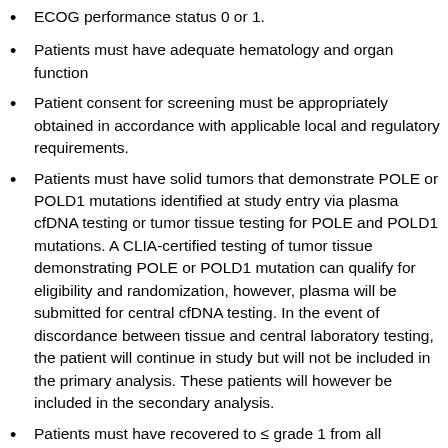ECOG performance status 0 or 1.
Patients must have adequate hematology and organ function
Patient consent for screening must be appropriately obtained in accordance with applicable local and regulatory requirements.
Patients must have solid tumors that demonstrate POLE or POLD1 mutations identified at study entry via plasma cfDNA testing or tumor tissue testing for POLE and POLD1 mutations. A CLIA-certified testing of tumor tissue demonstrating POLE or POLD1 mutation can qualify for eligibility and randomization, however, plasma will be submitted for central cfDNA testing. In the event of discordance between tissue and central laboratory testing, the patient will continue in study but will not be included in the primary analysis. These patients will however be included in the secondary analysis.
Patients must have recovered to ≤ grade 1 from all reversible toxicity related prior systemic or radiation therapy and have a 2 weeks washout.